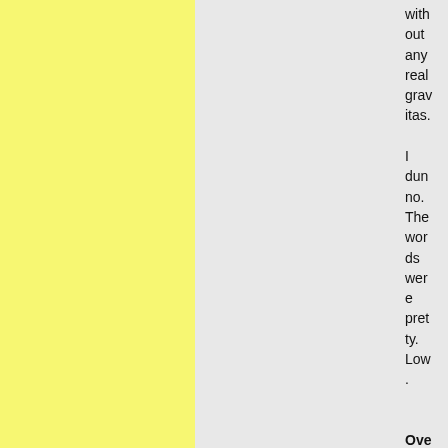without any real gravitas.

I dunno. The words were pretty. Low.

Overall
[Figure (illustration): Yellow textured background on the left third of the page, gray background on the center and right portions.]